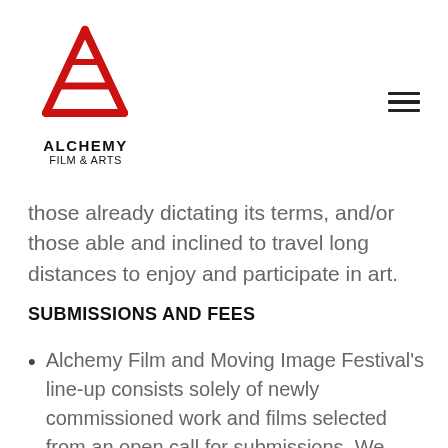[Figure (logo): Alchemy Film & Arts logo: a red stylized letter A with horizontal lines forming a triangle/bridge shape, with text 'ALCHEMY' and 'FILM & ARTS' below in black]
those already dictating its terms, and/or those able and inclined to travel long distances to enjoy and participate in art.
SUBMISSIONS AND FEES
Alchemy Film and Moving Image Festival's line-up consists solely of newly commissioned work and films selected from an open call for submissions. We keep our submission fees as low as possible and always prioritise fostering